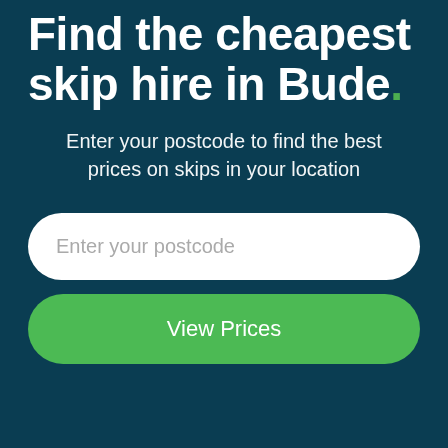Find the cheapest skip hire in Bude.
Enter your postcode to find the best prices on skips in your location
[Figure (screenshot): Text input field with placeholder text 'Enter your postcode', white rounded rectangle on dark teal background]
[Figure (screenshot): Green rounded button with text 'View Prices']